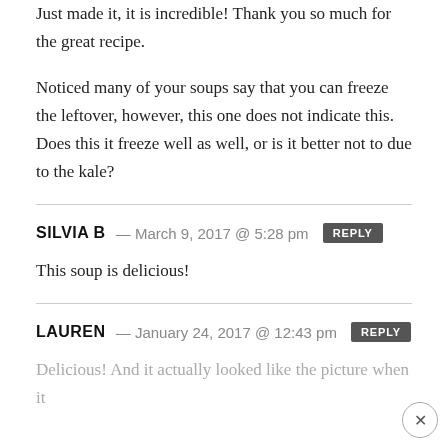Just made it, it is incredible! Thank you so much for the great recipe.
Noticed many of your soups say that you can freeze the leftover, however, this one does not indicate this. Does this it freeze well as well, or is it better not to due to the kale?
SILVIA B — March 9, 2017 @ 5:28 pm [REPLY]
This soup is delicious!
LAUREN — January 24, 2017 @ 12:43 pm [REPLY]
Delicious! And it actually looked like the picture when it